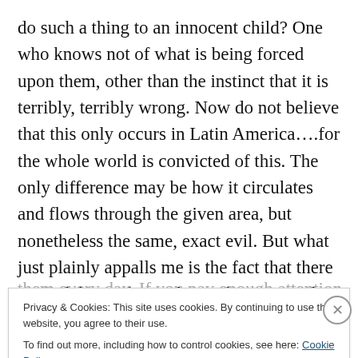do such a thing to an innocent child? One who knows not of what is being forced upon them, other than the instinct that it is terribly, terribly wrong. Now do not believe that this only occurs in Latin America….for the whole world is convicted of this. The only difference may be how it circulates and flows through the given area, but nonetheless the same, exact evil. But what just plainly appalls me is the fact that there are sick bastards out there who WANT this stuff….do not for a second believe that there are, but a few of these sick perverts. You can see them every day. If you pay enough attention, you will see
Privacy & Cookies: This site uses cookies. By continuing to use this website, you agree to their use.
To find out more, including how to control cookies, see here: Cookie Policy